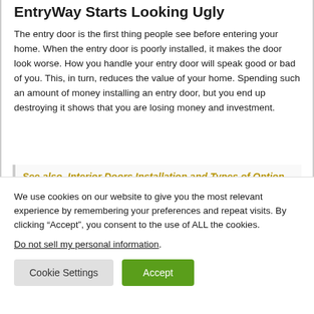EntryWay Starts Looking Ugly
The entry door is the first thing people see before entering your home. When the entry door is poorly installed, it makes the door look worse. How you handle your entry door will speak good or bad of you. This, in turn, reduces the value of your home. Spending such an amount of money installing an entry door, but you end up destroying it shows that you are losing money and investment.
See also  Interior Doors Installation and Types of Option Available in Market
We use cookies on our website to give you the most relevant experience by remembering your preferences and repeat visits. By clicking “Accept”, you consent to the use of ALL the cookies.
Do not sell my personal information.
Cookie Settings | Accept